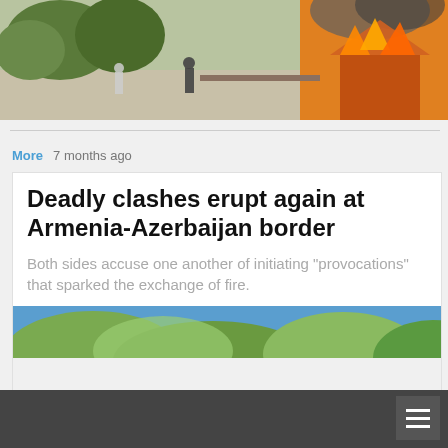[Figure (photo): A street scene with a large fire and smoke coming from a burning structure on the right side; trees visible; a person in dark clothing and another figure visible on the road.]
More   7 months ago
Deadly clashes erupt again at Armenia-Azerbaijan border
Both sides accuse one another of initiating "provocations" that sparked the exchange of fire.
[Figure (photo): Partial view of trees and sky, blurry/cropped image — appears to be a thumbnail of a related news story.]